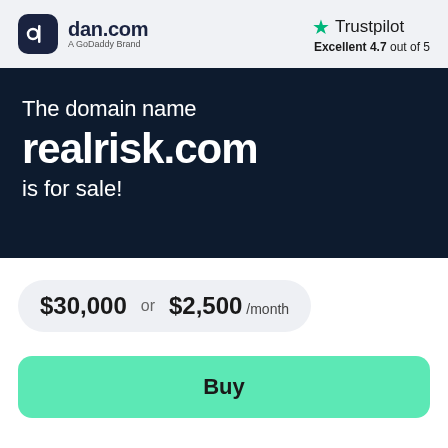[Figure (logo): dan.com logo — dark rounded square icon with stylized 'd' letter, followed by 'dan.com' in bold dark text and 'A GoDaddy Brand' subtitle]
[Figure (logo): Trustpilot logo — green star icon followed by 'Trustpilot' text, with 'Excellent 4.7 out of 5' rating below]
The domain name realrisk.com is for sale!
$30,000 or $2,500 /month
Buy